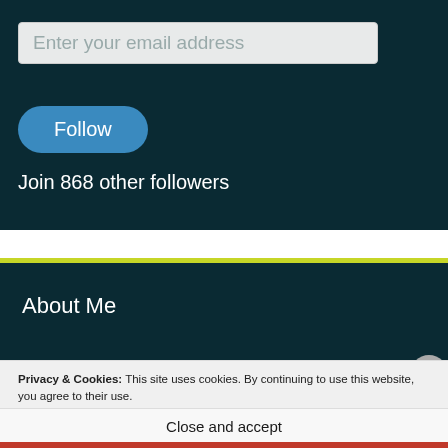Enter your email address
Follow
Join 868 other followers
About Me
Privacy & Cookies: This site uses cookies. By continuing to use this website, you agree to their use.
To find out more, including how to control cookies, see here: Cookie Policy
Close and accept